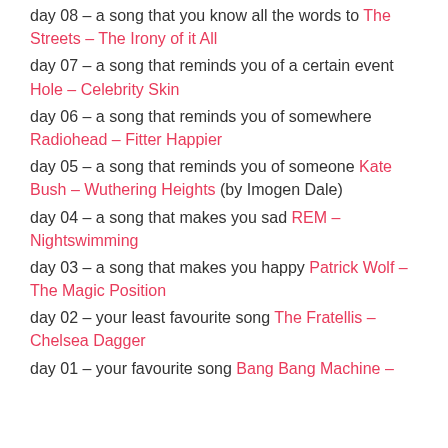day 08 – a song that you know all the words to The Streets – The Irony of it All
day 07 – a song that reminds you of a certain event Hole – Celebrity Skin
day 06 – a song that reminds you of somewhere Radiohead – Fitter Happier
day 05 – a song that reminds you of someone Kate Bush – Wuthering Heights (by Imogen Dale)
day 04 – a song that makes you sad REM – Nightswimming
day 03 – a song that makes you happy Patrick Wolf – The Magic Position
day 02 – your least favourite song The Fratellis – Chelsea Dagger
day 01 – your favourite song Bang Bang Machine –